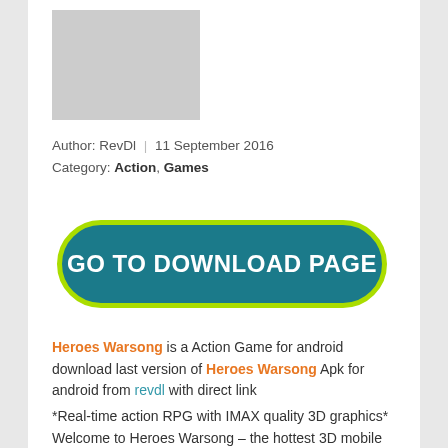[Figure (photo): Gray placeholder image for game app icon or screenshot]
Author: RevDl | 11 September 2016
Category: Action, Games
[Figure (other): GO TO DOWNLOAD PAGE button - teal rounded rectangle with yellow-green border]
Heroes Warsong is a Action Game for android
download last version of Heroes Warsong Apk for android from revdl with direct link
*Real-time action RPG with IMAX quality 3D graphics*
Welcome to Heroes Warsong – the hottest 3D mobile RPG! Embark on a journey across civilizations and recruit more than 36 classic